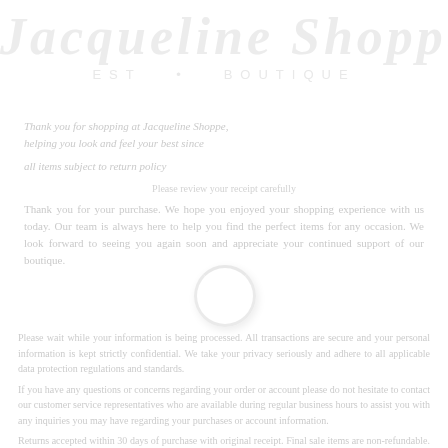[Figure (logo): Jacqueline Shoppe logo — large italic serif text in very light gray watermark style]
Thank you for shopping at Jacqueline Shoppe. We hope you enjoyed your experience and will return again soon. All items are subject to our return policy.
Loading spinner graphic
Please wait while your order is being processed. Thank you for your patience and for shopping with us. We appreciate your business and loyalty to our store.
If you have any questions or concerns regarding your order please do not hesitate to contact our customer service team who are available to assist you at any time during regular business hours.